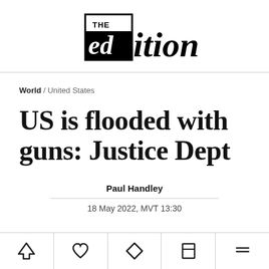THE edition
World / United States
US is flooded with guns: Justice Dept
Paul Handley
18 May 2022, MVT 13:30
[Figure (other): Social share bar with icons at the bottom of the page]